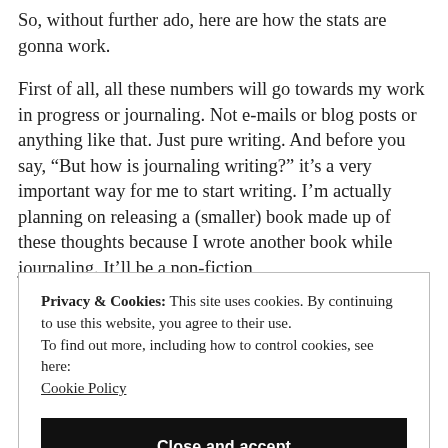So, without further ado, here are how the stats are gonna work.
First of all, all these numbers will go towards my work in progress or journaling. Not e-mails or blog posts or anything like that. Just pure writing. And before you say, “But how is journaling writing?” it’s a very important way for me to start writing. I’m actually planning on releasing a (smaller) book made up of these thoughts because I wrote another book while journaling. It’ll be a non-fiction
Privacy & Cookies: This site uses cookies. By continuing to use this website, you agree to their use.
To find out more, including how to control cookies, see here: Cookie Policy
Close and accept
I’m done with this book. I’m probably gonna be “stuck” and